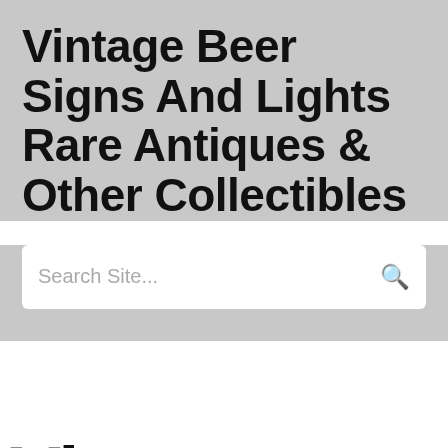Vintage Beer Signs And Lights Rare Antiques & Other Collectibles
Search Site...
Vintage Beer